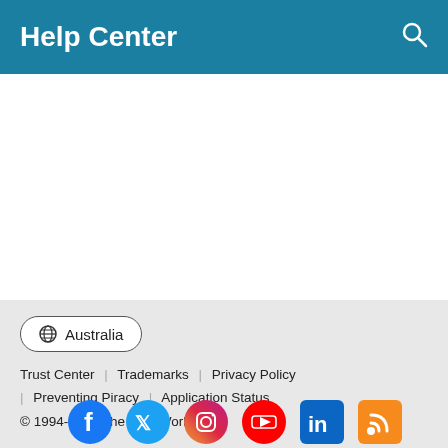Help Center
Resources ▼
[Figure (screenshot): Two download buttons: Trial Software and Product Updates on a light blue background]
🌐 Australia
Trust Center | Trademarks | Privacy Policy | Preventing Piracy | Application Status
© 1994-2022 The MathWorks, Inc.
[Figure (other): Social media icons: Facebook, Twitter, Instagram, YouTube, LinkedIn, RSS]